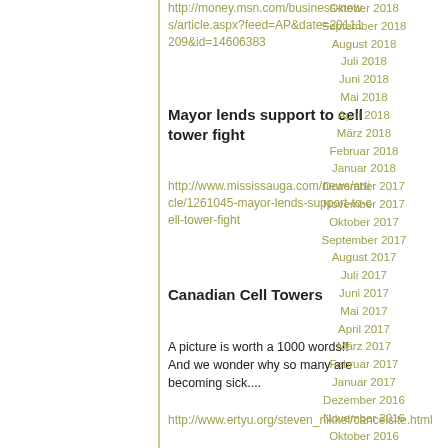http://money.msn.com/business-news/article.aspx?feed=AP&date=20111209&id=14606383
Mayor lends support to cell tower fight
http://www.mississauga.com/news/article/1261045-mayor-lends-support-to-cell-tower-fight
Canadian Cell Towers
A picture is worth a 1000 words!! And we wonder why so many are becoming sick....
http://www.ertyu.org/steven_nikkel/cancelsite.html
Sharon
Informant: Martin Weatherall
Oktober 2018
September 2018
August 2018
Juli 2018
Juni 2018
Mai 2018
April 2018
März 2018
Februar 2018
Januar 2018
Dezember 2017
November 2017
Oktober 2017
September 2017
August 2017
Juli 2017
Juni 2017
Mai 2017
April 2017
März 2017
Februar 2017
Januar 2017
Dezember 2016
November 2016
Oktober 2016
September 2016
August 2016
Juli 2016
Juni 2016
Mai 2016
April 2016
März 2016
Februar 2016
Januar 2016
Dezember 2015
November 2015
Oktober 2015
September 2015